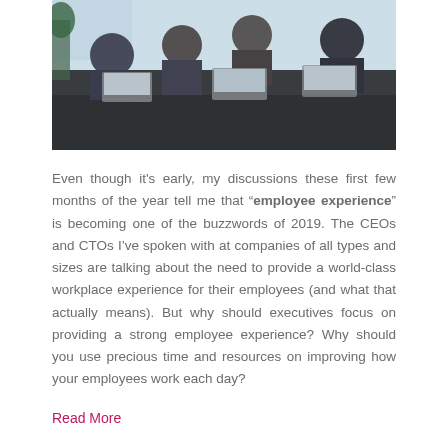[Figure (photo): Business meeting scene: people sitting around a dark conference table with laptops open, seen from above at an angle. Office plants visible in background.]
Even though it's early, my discussions these first few months of the year tell me that “employee experience” is becoming one of the buzzwords of 2019. The CEOs and CTOs I’ve spoken with at companies of all types and sizes are talking about the need to provide a world-class workplace experience for their employees (and what that actually means). But why should executives focus on providing a strong employee experience? Why should you use precious time and resources on improving how your employees work each day?
Read More